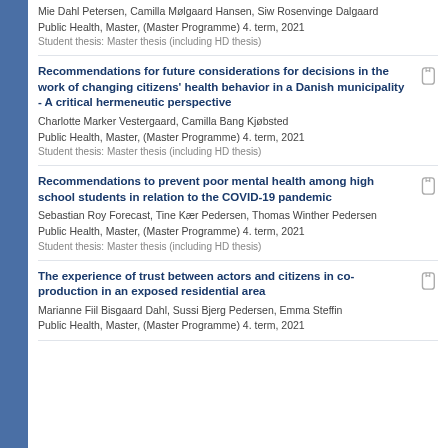Mie Dahl Petersen, Camilla Mølgaard Hansen, Siw Rosenvinge Dalgaard
Public Health, Master, (Master Programme) 4. term, 2021
Student thesis: Master thesis (including HD thesis)
Recommendations for future considerations for decisions in the work of changing citizens' health behavior in a Danish municipality - A critical hermeneutic perspective
Charlotte Marker Vestergaard, Camilla Bang Kjøbsted
Public Health, Master, (Master Programme) 4. term, 2021
Student thesis: Master thesis (including HD thesis)
Recommendations to prevent poor mental health among high school students in relation to the COVID-19 pandemic
Sebastian Roy Forecast, Tine Kær Pedersen, Thomas Winther Pedersen
Public Health, Master, (Master Programme) 4. term, 2021
Student thesis: Master thesis (including HD thesis)
The experience of trust between actors and citizens in co-production in an exposed residential area
Marianne Fiil Bisgaard Dahl, Sussi Bjerg Pedersen, Emma Steffin
Public Health, Master, (Master Programme) 4. term, 2021